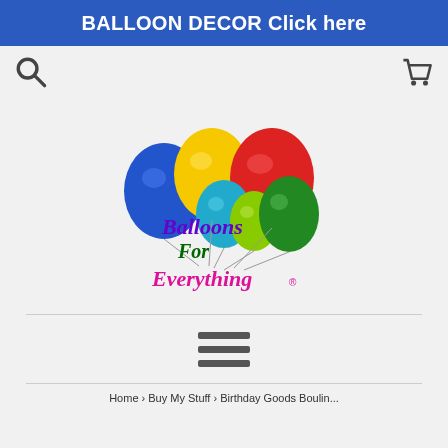BALLOON DECOR Click here
[Figure (logo): Balloons For Everything logo with colorful balloons (blue, yellow, red, green, teal, light green) and Disney-style text reading Balloons For Everything with a registered trademark symbol]
[Figure (other): Hamburger menu icon with three horizontal lines]
Home › Buy My Stuff › Birthday Goods Boulin...